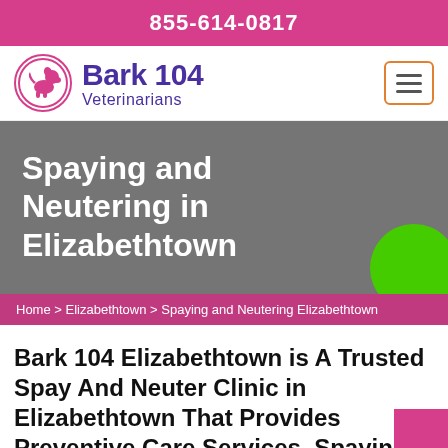855-614-0817
[Figure (logo): Bark 104 Veterinarians logo with pink dog silhouette in circle]
Spaying and Neutering in Elizabethtown
Home > Elizabethtown > Spaying and Neutering Elizabethtown
Bark 104 Elizabethtown is A Trusted Spay And Neuter Clinic in Elizabethtown That Provides Preventive Care Services. Spaying